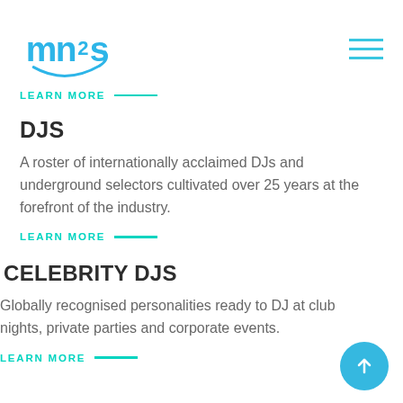mn2s logo and navigation menu
LEARN MORE
DJS
A roster of internationally acclaimed DJs and underground selectors cultivated over 25 years at the forefront of the industry.
LEARN MORE
CELEBRITY DJS
Globally recognised personalities ready to DJ at club nights, private parties and corporate events.
LEARN MORE